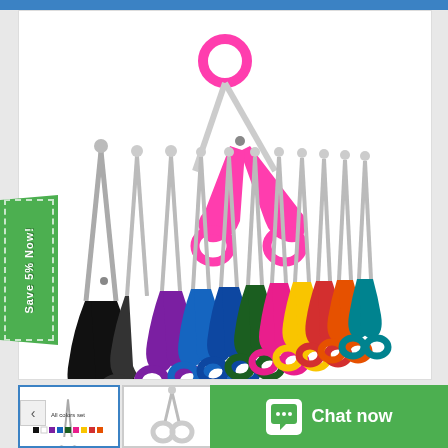[Figure (photo): Product photo showing multiple colorful EMT trauma scissors/shears arranged in a fan pattern. Colors include black, white, purple, blue, dark blue, green, pink, yellow, red, orange, teal. One pink pair of scissors is shown open and elevated above the rest. A green 'Save 5% Now!' badge is on the left side.]
[Figure (photo): Thumbnail 1 (active/selected): Same scissors set product image, smaller view]
[Figure (photo): Thumbnail 2: Single white/clear scissors]
[Figure (photo): Thumbnail 3: Single scissors angled view]
[Figure (photo): Thumbnail 4: Single scissors angled view]
Chat now